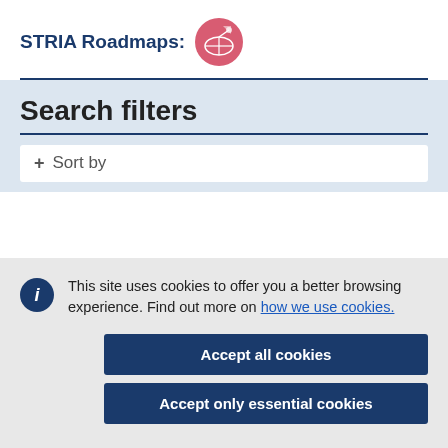STRIA Roadmaps:
Search filters
Sort by
This site uses cookies to offer you a better browsing experience. Find out more on how we use cookies.
Accept all cookies
Accept only essential cookies